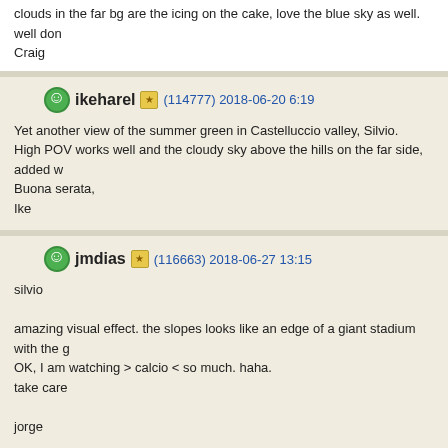clouds in the far bg are the icing on the cake, love the blue sky as well. well don Craig
ikeharel (114777) 2018-06-20 6:19
Yet another view of the summer green in Castelluccio valley, Silvio.
High POV works well and the cloudy sky above the hills on the far side, added w
Buona serata,
Ike
jmdias (116663) 2018-06-27 13:15
silvio
amazing visual effect. the slopes looks like an edge of a giant stadium with the g
OK, I am watching > calcio < so much. haha.
take care
jorge
cornejo (61504) 2018-06-29 11:23
Ciao Silvio, ottima fotografia di questa bellissima valle verde, molto ben cattura interessante, con buona nitidezza, luce, colori e qualità. Lavoro molto buono e i